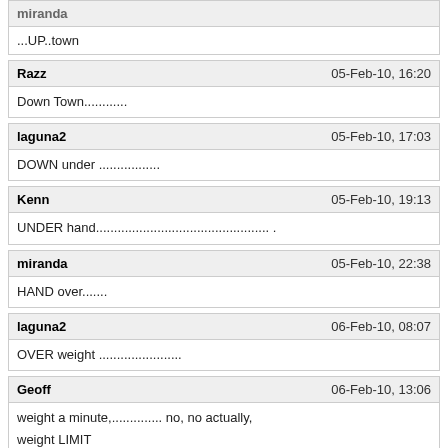...UP..town
Razz | 05-Feb-10, 16:20 | Down Town............
laguna2 | 05-Feb-10, 17:03 | DOWN under .................
Kenn | 05-Feb-10, 19:13 | UNDER hand................................................ .
miranda | 05-Feb-10, 22:38 | HAND over.......
laguna2 | 06-Feb-10, 08:07 | OVER weight .......................
Geoff | 06-Feb-10, 13:06 | weight a minute,.............. no, no actually, weight LIMIT (The first one was only a pun!)